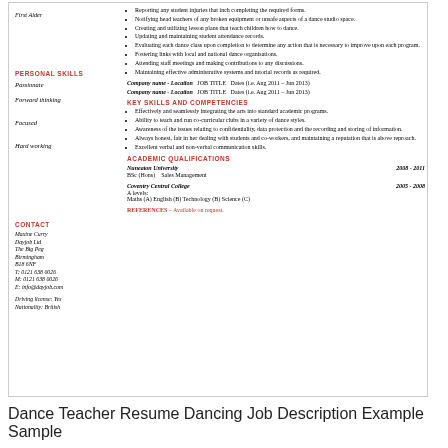Reporting any student injuries that inch completing the required forms.
First Aider
Notifying head teachers of any broken equipment or unsafe aspects of a dance studio space.
Creating and utilizing lesson plans that teach children how to dance.
Updating and maintaining student attendance records.
Evaluating each dance class upon completion to determine any action that is necessary to improve upon each program.
PERSONAL SKILLS
Fostering links with local and national dance organisations.
Attending staff meetings and making contributions to any discussions.
Maintaining effective administrative systems and tutorial records as required.
Passionate
Forward thinking
Company name - Location   JOB TITLE   Dates (i.e. Aug 2011 – Jun 2013)
Focused
Company name - Location   JOB TITLE   Dates (i.e. Aug 2011 – Jun 2013)
Hard working
KEY SKILLS AND COMPETENCIES
Effectively and seamlessly integrating the arts into standard academic programs.
Ability to teach and run co-curricular clubs in a variety of dance styles.
Awareness of the issues relating to confidentiality, data protection and the recording and storing of information.
Always honest, fair in her dealing with students and co-workers, and maintaining a reputation that is above reproach.
Excellent verbal and non-verbal communication skills.
CONTACT
ACADEMIC QUALIFICATIONS
Maxine Curry
Dayjob Ltd
The Big Peg
Birmingham
B18 6NF
T: 0121 638 0026
M: 0121 638 0026
E: info@dayjob.com
Nuneaton University
BSc (Hons)   Sales Management
2008 - 2011
Driving license: Yes
Nationality: British
Coventry Central College
A levels:
Maths (A) English (B) Technology (B) Science (C)
2005 - 2008
REFERENCES – Available on request.
Dance Teacher Resume Dancing Job Description Example Sample